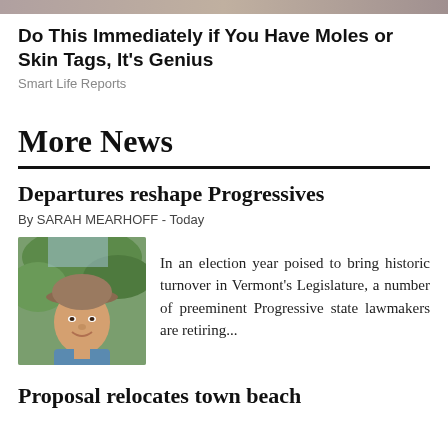[Figure (photo): Partial banner image at top of page, cropped]
Do This Immediately if You Have Moles or Skin Tags, It's Genius
Smart Life Reports
More News
Departures reshape Progressives
By SARAH MEARHOFF - Today
[Figure (photo): Photo of a woman wearing a baseball cap outdoors]
In an election year poised to bring historic turnover in Vermont's Legislature, a number of preeminent Progressive state lawmakers are retiring...
Proposal relocates town beach